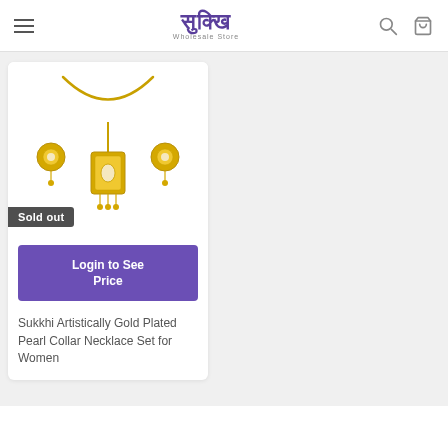Sukkhi Wholesale Store
[Figure (photo): Gold plated pearl collar necklace set with earrings on white background, with Sold out badge overlay]
Login to See Price
Sukkhi Artistically Gold Plated Pearl Collar Necklace Set for Women